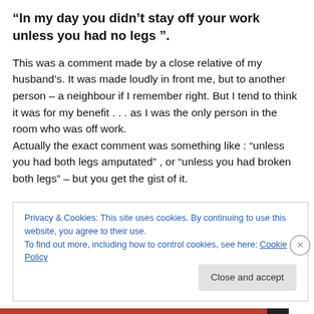“In my day you didn’t stay off your work unless you had no legs”.
This was a comment made by a close relative of my husband’s. It was made loudly in front me, but to another person – a neighbour if I remember right. But I tend to think it was for my benefit . . . as I was the only person in the room who was off work.
Actually the exact comment was something like : “unless you had both legs amputated” , or “unless you had broken both legs” – but you get the gist of it.
Privacy & Cookies: This site uses cookies. By continuing to use this website, you agree to their use.
To find out more, including how to control cookies, see here: Cookie Policy